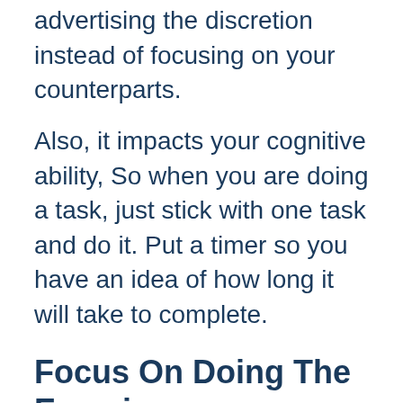advertising the discretion instead of focusing on your counterparts.
Also, it impacts your cognitive ability, So when you are doing a task, just stick with one task and do it. Put a timer so you have an idea of how long it will take to complete.
Focus On Doing The Exercises
Well for managing your time, it's important that you focus on your health too.